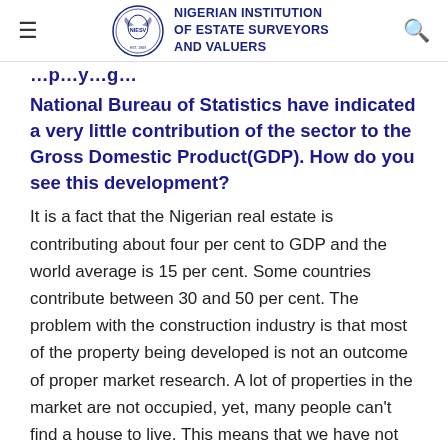NIGERIAN INSTITUTION OF ESTATE SURVEYORS AND VALUERS
National Bureau of Statistics have indicated a very little contribution of the sector to the Gross Domestic Product(GDP). How do you see this development?
It is a fact that the Nigerian real estate is contributing about four per cent to GDP and the world average is 15 per cent. Some countries contribute between 30 and 50 per cent. The problem with the construction industry is that most of the property being developed is not an outcome of proper market research. A lot of properties in the market are not occupied, yet, many people can't find a house to live. This means that we have not addressed the problem. If we have a good mortgage system that allows people to take money from banks with the hope of paying back, nobody will